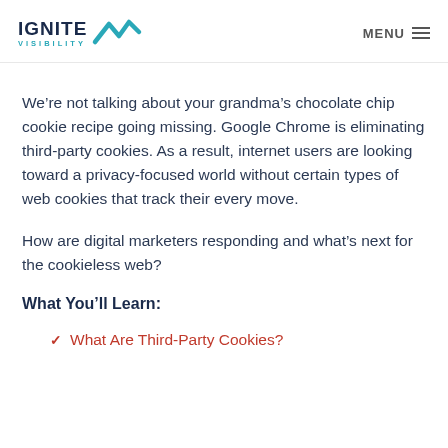IGNITE VISIBILITY | MENU
We’re not talking about your grandma’s chocolate chip cookie recipe going missing. Google Chrome is eliminating third-party cookies. As a result, internet users are looking toward a privacy-focused world without certain types of web cookies that track their every move.
How are digital marketers responding and what’s next for the cookieless web?
What You’ll Learn:
What Are Third-Party Cookies?